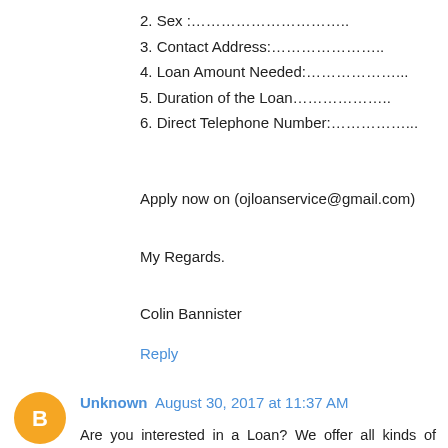2. Sex :…………………………..
3. Contact Address:…………………..
4. Loan Amount Needed:………………...
5. Duration of the Loan………………..
6. Direct Telephone Number:……………...
Apply now on (ojloanservice@gmail.com)
My Regards.
Colin Bannister
Reply
Unknown  August 30, 2017 at 11:37 AM
Are you interested in a Loan? We offer all kinds of financial assistance to all individuals "Business Personal Loan , investment Loan,home consolidation Loan, debt Loan and company loan worldwide. Our interest rate is 3% per year. we also render financial advice to our clients. if you have any good project or you want to start up a business and